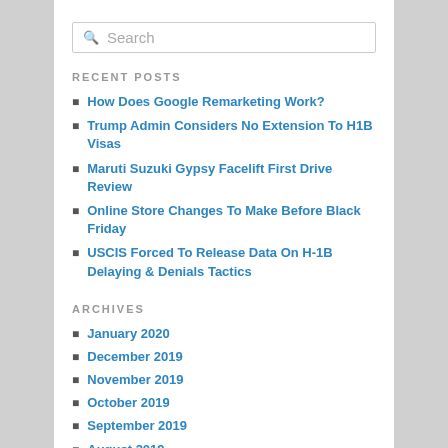Search
RECENT POSTS
How Does Google Remarketing Work?
Trump Admin Considers No Extension To H1B Visas
Maruti Suzuki Gypsy Facelift First Drive Review
Online Store Changes To Make Before Black Friday
USCIS Forced To Release Data On H-1B Delaying & Denials Tactics
ARCHIVES
January 2020
December 2019
November 2019
October 2019
September 2019
August 2019
July 2019
June 2019